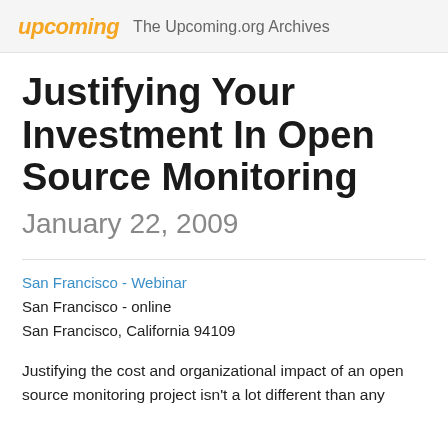upcoming  The Upcoming.org Archives
Justifying Your Investment In Open Source Monitoring January 22, 2009
San Francisco - Webinar
San Francisco - online
San Francisco, California 94109
Justifying the cost and organizational impact of an open source monitoring project isn't a lot different than any